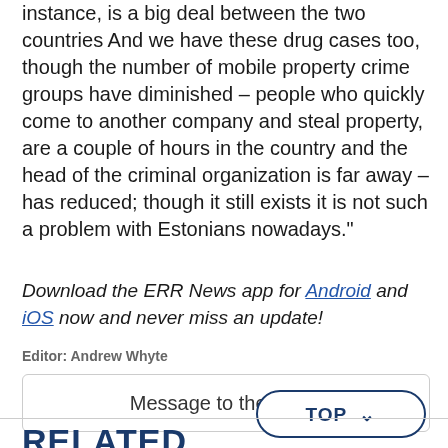instance, is a big deal between the two countries And we have these drug cases too, though the number of mobile property crime groups have diminished – people who quickly come to another company and steal property, are a couple of hours in the country and the head of the criminal organization is far away – has reduced; though it still exists it is not such a problem with Estonians nowadays."
Download the ERR News app for Android and iOS now and never miss an update!
Editor: Andrew Whyte
Message to the editor
TOP ^
RELATED